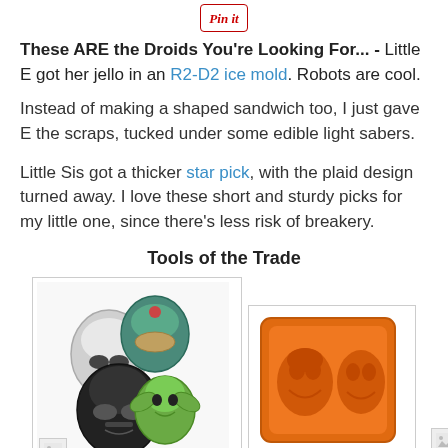[Figure (other): Pinterest 'Pin it' button]
These ARE the Droids You're Looking For... - Little E got her jello in an R2-D2 ice mold. Robots are cool.
Instead of making a shaped sandwich too, I just gave E the scraps, tucked under some edible light sabers.
Little Sis got a thicker star pick, with the plaid design turned away. I love these short and sturdy picks for my little one, since there's less risk of breakery.
Tools of the Trade
[Figure (photo): Star Wars character food picks/clips showing Stormtrooper, Boba Fett, Darth Vader, and Yoda helmet shapes]
[Figure (photo): Orange silicone R2-D2 ice mold with character face impressions]